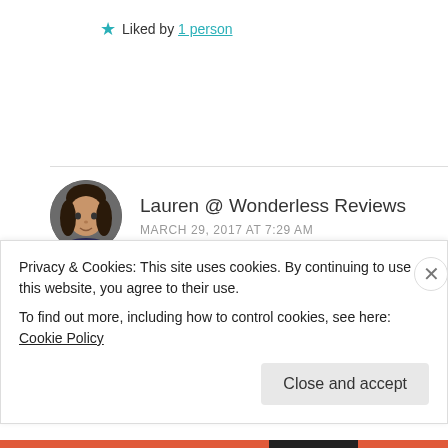★ Liked by 1 person
Lauren @ Wonderless Reviews
MARCH 29, 2017 AT 7:29 AM
Can I just say that I LOVE your new theme. It looks
Privacy & Cookies: This site uses cookies. By continuing to use this website, you agree to their use.
To find out more, including how to control cookies, see here: Cookie Policy
Close and accept